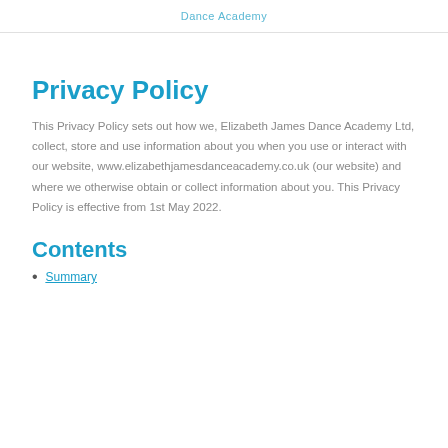Dance Academy
Privacy Policy
This Privacy Policy sets out how we, Elizabeth James Dance Academy Ltd, collect, store and use information about you when you use or interact with our website, www.elizabethjamesdanceacademy.co.uk (our website) and where we otherwise obtain or collect information about you. This Privacy Policy is effective from 1st May 2022.
Contents
Summary